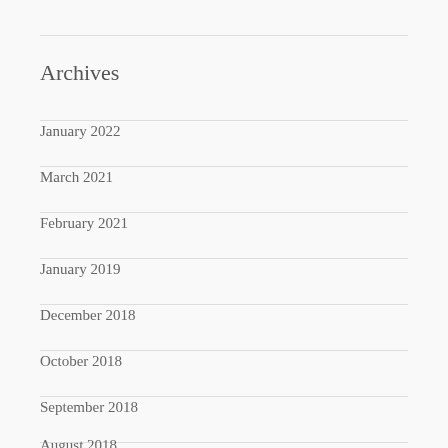Archives
January 2022
March 2021
February 2021
January 2019
December 2018
October 2018
September 2018
August 2018